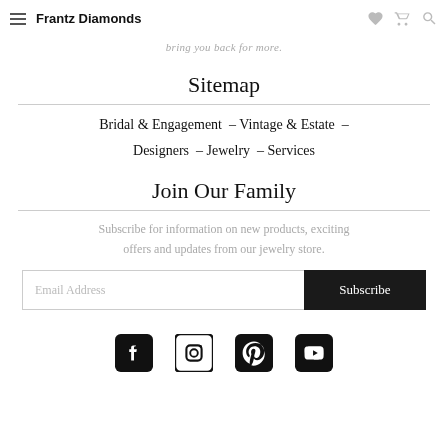Frantz Diamonds
bring you back for more.
Sitemap
Bridal & Engagement – Vintage & Estate – Designers – Jewelry – Services
Join Our Family
Subscribe for information on new products, exciting offers and updates from our jewelry store.
Email Address  Subscribe
[Figure (infographic): Social media icons row: Facebook, Instagram, Pinterest, YouTube]